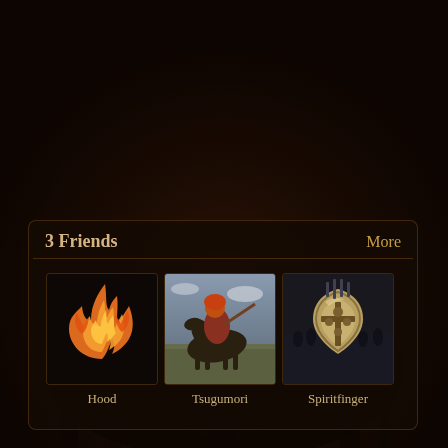[Figure (screenshot): Dark fantasy game UI screenshot showing a '3 Friends' panel with three player avatars: Hood (flame icon on black), Tsugumori (mounted knight illustration), and Spiritfinger (shield/armor illustration). A 'More' link appears top right of the panel. Background is a very dark brown textured game scene.]